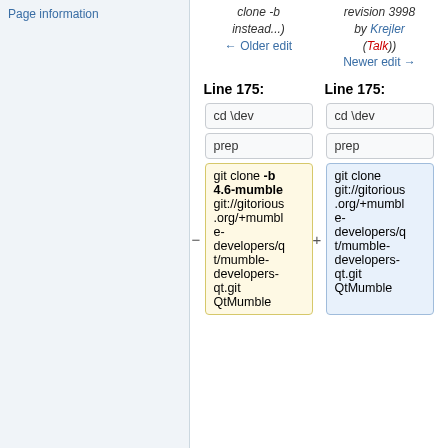Page information
clone -b instead...) ← Older edit
revision 3998 by Krejler (Talk)) Newer edit →
Line 175:
Line 175:
cd \dev
cd \dev
prep
prep
git clone -b 4.6-mumble git://gitorious.org/+mumble-developers/qt/mumble-developers-qt.git QtMumble
git clone git://gitorious.org/+mumble-developers/qt/mumble-developers-qt.git QtMumble